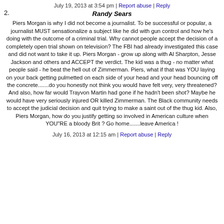July 19, 2013 at 3:54 pm | Report abuse | Reply
2. Randy Sears
Piers Morgan is why I did not become a journalist. To be successful or popular, a journalist MUST sensationalize a subject like he did with gun control and how he's doing with the outcome of a criminal trial. Why cannot people accept the decision of a completely open trial shown on television? The FBI had already investigated this case and did not want to take it up. Piers Morgan - grow up along with Al Sharpton, Jesse Jackson and others and ACCEPT the verdict. The kid was a thug - no matter what people said - he beat the hell out of Zimmerman. Piers, what if that was YOU laying on your back getting pulmetted on each side of your head and your head bouncing off the concrete.......do you honestly not think you would have felt very, very threatened? And also, how far would Trayvon Martin had gone if he hadn't been shot? Maybe he would have very seriously injured OR killed Zimmerman. The Black community needs to accept the judicial decision and quit trying to make a saint out of the thug kid. Also, Piers Morgan, how do you justify getting so involved in American culture when YOU"RE a bloody Brit ? Go home.......leave America !
July 16, 2013 at 12:15 am | Report abuse | Reply